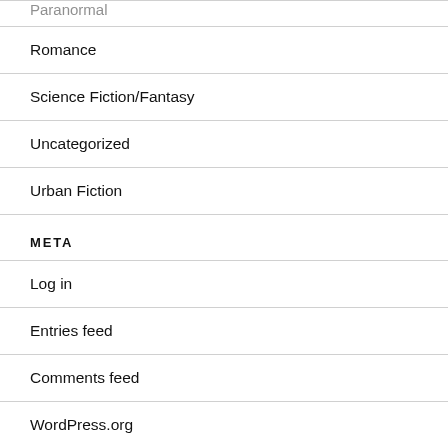Paranormal
Romance
Science Fiction/Fantasy
Uncategorized
Urban Fiction
META
Log in
Entries feed
Comments feed
WordPress.org